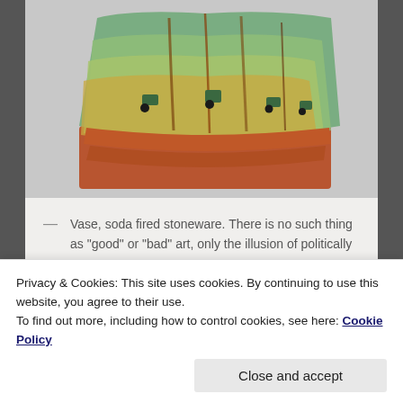[Figure (photo): A ceramic vase made of soda fired stoneware, with layered green, brown, and terracotta glazed surfaces forming a sculptural stepped or fin-like shape.]
— Vase, soda fired stoneware. There is no such thing as “good” or “bad” art, only the illusion of politically correct.
Privacy & Cookies: This site uses cookies. By continuing to use this website, you agree to their use.
To find out more, including how to control cookies, see here: Cookie Policy